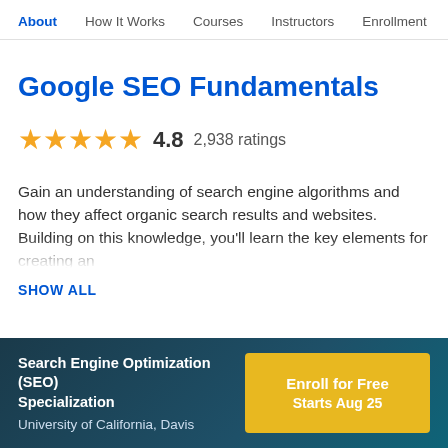About  How It Works  Courses  Instructors  Enrollment
Google SEO Fundamentals
4.8  2,938 ratings
Gain an understanding of search engine algorithms and how they affect organic search results and websites. Building on this knowledge, you'll learn the key elements for creating an
SHOW ALL
Search Engine Optimization (SEO) Specialization
University of California, Davis
Enroll for Free
Starts Aug 25